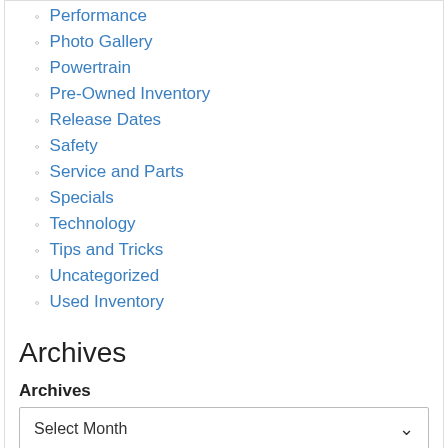Performance
Photo Gallery
Powertrain
Pre-Owned Inventory
Release Dates
Safety
Service and Parts
Specials
Technology
Tips and Tricks
Uncategorized
Used Inventory
Archives
Archives
Select Month
Inventory